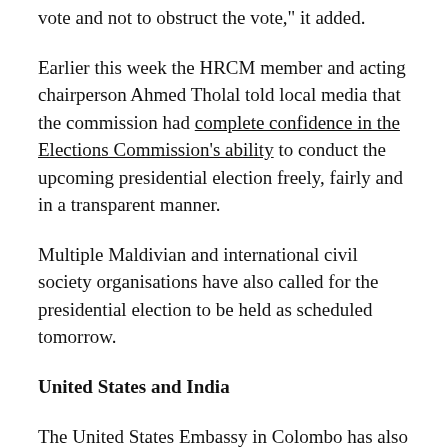vote and not to obstruct the vote," it added.
Earlier this week the HRCM member and acting chairperson Ahmed Tholal told local media that the commission had complete confidence in the Elections Commission's ability to conduct the upcoming presidential election freely, fairly and in a transparent manner.
Multiple Maldivian and international civil society organisations have also called for the presidential election to be held as scheduled tomorrow.
United States and India
The United States Embassy in Colombo has also expressed concern that the October 19 election may be postponed, and called on political leaders to ensure participatory democracy is not undermined